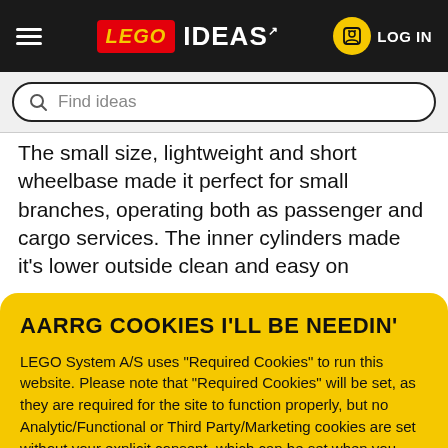LEGO IDEAS — LOG IN navigation bar
Find ideas (search bar placeholder)
The small size, lightweight and short wheelbase made it perfect for small branches, operating both as passenger and cargo services. The inner cylinders made it's lower outside clean and easy on
AARRG COOKIES I'LL BE NEEDIN'
LEGO System A/S uses "Required Cookies" to run this website. Please note that "Required Cookies" will be set, as they are required for the site to function properly, but no Analytic/Functional or Third Party/Marketing cookies are set without your explicit consent, which can be set when you create or log-in to your account.
OK
[Figure (illustration): LEGO pirate minifigure with skull-and-crossbones hat and blue parrot]